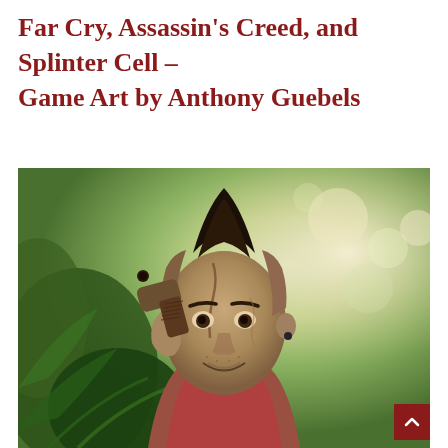Far Cry, Assassin's Creed, and Splinter Cell – Game Art by Anthony Guebels
[Figure (photo): Video game character (Vaas Montenegro from Far Cry 3) holding a pistol to his head, with a mohawk hairstyle, scarred face, and a jungle background. High-quality rendering/game art.]